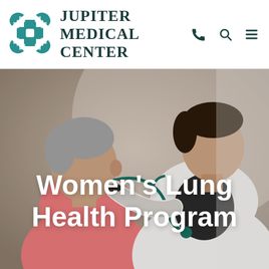[Figure (logo): Jupiter Medical Center logo with teal geometric cross/flower icon and serif text]
[Figure (photo): Doctor in white coat using stethoscope on patient in pink shirt, hero banner image with text overlay 'Women’s Lung Health Program']
Women’s Lung Health Program